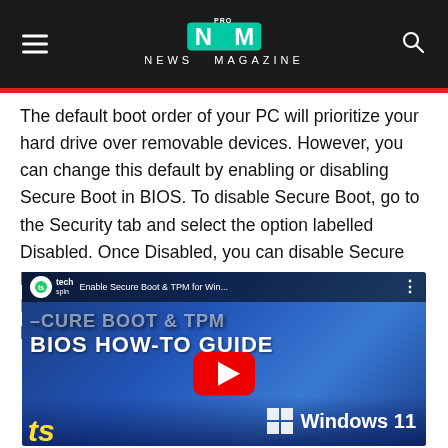NEWS MAGAZINE
The default boot order of your PC will prioritize your hard drive over removable devices. However, you can change this default by enabling or disabling Secure Boot in BIOS. To disable Secure Boot, go to the Security tab and select the option labelled Disabled. Once Disabled, you can disable Secure Boot and use your USB drive as the boot medium. In addition, the Secure Boot option can be located in BIOS under the Security tab.
[Figure (screenshot): YouTube video thumbnail for 'Enable Secure Boot & TPM for Win...' by tech spin channel, showing text 'CURE BOOT & TPM BIOS HOW-TO GUIDE' with a YouTube play button and Windows 11 logo on a blue gradient background.]